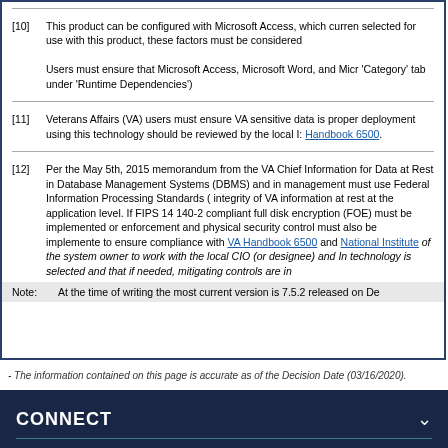[10] This product can be configured with Microsoft Access, which curren selected for use with this product, these factors must be considered
Users must ensure that Microsoft Access, Microsoft Word, and Micr 'Category' tab under 'Runtime Dependencies')
[11] Veterans Affairs (VA) users must ensure VA sensitive data is proper deployment using this technology should be reviewed by the local I: Handbook 6500.
[12] Per the May 5th, 2015 memorandum from the VA Chief Information for Data at Rest in Database Management Systems (DBMS) and in management must use Federal Information Processing Standards ( integrity of VA information at rest at the application level. If FIPS 14 140-2 compliant full disk encryption (FOE) must be implemented or enforcement and physical security control must also be implemente to ensure compliance with VA Handbook 6500 and National Institute of the system owner to work with the local CIO (or designee) and In technology is selected and that if needed, mitigating controls are in
Note: At the time of writing the most current version is 7.5.2 released on De
- The information contained on this page is accurate as of the Decision Date (03/16/2020).
CONNECT